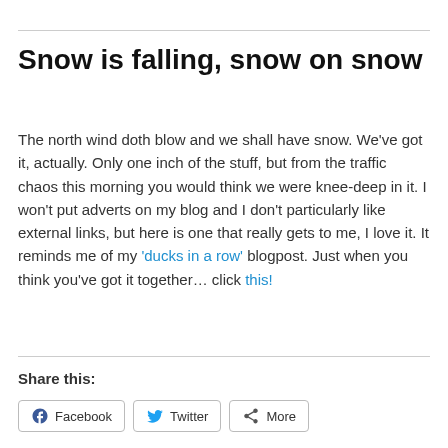Snow is falling, snow on snow
The north wind doth blow and we shall have snow. We've got it, actually. Only one inch of the stuff, but from the traffic chaos this morning you would think we were knee-deep in it. I won't put adverts on my blog and I don't particularly like external links, but here is one that really gets to me, I love it. It reminds me of my 'ducks in a row' blogpost. Just when you think you've got it together… click this!
Share this:
Facebook  Twitter  More